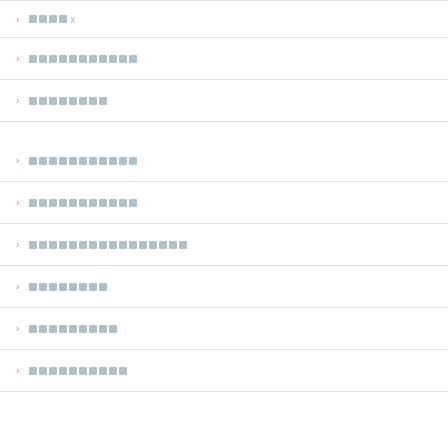████x
███████████
████████
███████████
███████████
████████████████
████████
█████████
██████████